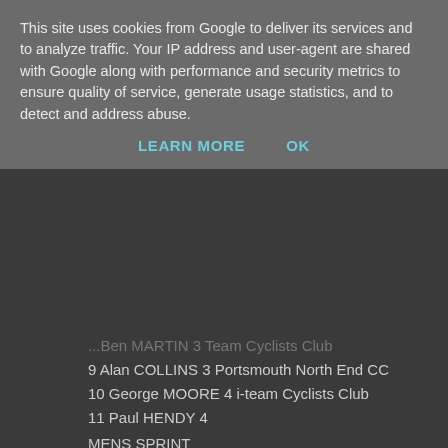This site uses cookies from Google to deliver its services and to analyze traffic. Your IP address and user-agent are shared with Google along with performance and security metrics to ensure quality of service, generate usage statistics, and to detect and address abuse.
LEARN MORE   OK
...Ben MARTIN 3 Team Cyclists Club
9 Alan COLLINS 3 Portsmouth North End CC
10 George MOORE 4 i-team Cyclists Club
11 Paul HENDY 4
MENS SPRINT
1 Lewis MARTIN 2 Spokes BPC Racing
2 George MOORE 4 i-team Cyclists Club
3 Harvey McNAUGHTON 1 TAAP Cervelo
4 Thomas BOWERING 1 Steele Davis Via Roma RT
YOUTH U16 / U14 SCRATCH
1 Jamie PULLEN A Maison Du Velo-Storck Bikes UK
2 Matt HICKMAN A I-Team Cyclists' Club
3 Owen GILES A Portsmouth North End CC
4 Matthew GILMOUR B Velo Club Venta
5 Laura CURLE Ag Liv Cycling Club - Halo Cycles